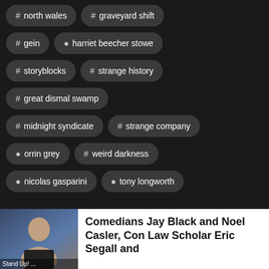# north wales
# graveyard shift
# gein
👤 harriet beecher stowe
# storyblocks
# strange history
# great dismal swamp
# midnight syndicate
# strange company
👤 orrin grey
# weird darkness
👤 nicolas gasparini
👤 tony longworth
Comedians Jay Black and Noel Casler, Con Law Scholar Eric Segall and